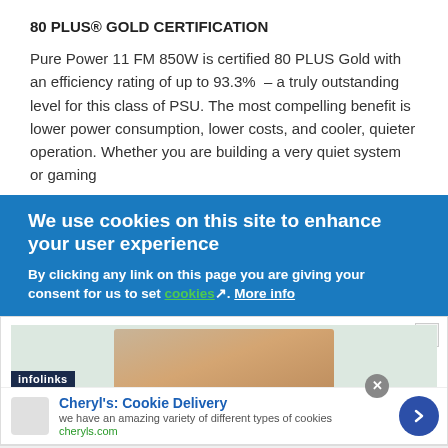80 PLUS® GOLD CERTIFICATION
Pure Power 11 FM 850W is certified 80 PLUS Gold with an efficiency rating of up to 93.3%  – a truly outstanding level for this class of PSU. The most compelling benefit is lower power consumption, lower costs, and cooler, quieter operation. Whether you are building a very quiet system or gaming
We use cookies on this site to enhance your user experience
By clicking any link on this page you are giving your consent for us to set cookies. More info
[Figure (screenshot): An advertisement overlay with an infolinks bar, showing an image of a human fingertip/nail close-up, with a cookie delivery ad below showing brand name Cheryl's: Cookie Delivery, description text, cheryls.com URL, and a blue arrow button.]